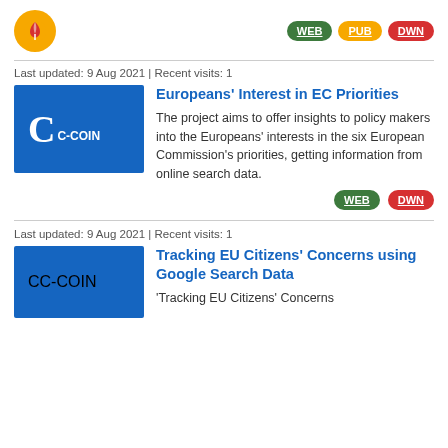[Figure (logo): Orange circular logo with leaf/tulip icon, alongside WEB (green), PUB (orange), DWN (red) pill buttons]
Last updated: 9 Aug 2021 | Recent visits: 1
[Figure (logo): Blue C-COIN box logo]
Europeans' Interest in EC Priorities
The project aims to offer insights to policy makers into the Europeans' interests in the six European Commission's priorities, getting information from online search data.
WEB  DWN
Last updated: 9 Aug 2021 | Recent visits: 1
[Figure (logo): Blue C-COIN box logo]
Tracking EU Citizens' Concerns using Google Search Data
'Tracking EU Citizens' Concerns